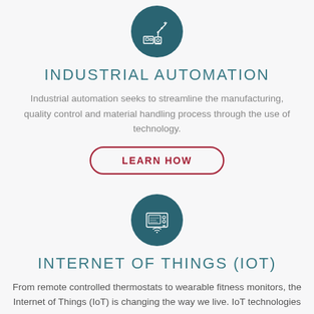[Figure (illustration): Dark teal circular icon with a white industrial robotic arm/manufacturing machine line art illustration]
INDUSTRIAL AUTOMATION
Industrial automation seeks to streamline the manufacturing, quality control and material handling process through the use of technology.
LEARN HOW
[Figure (illustration): Dark teal circular icon with a white IoT/smart device panel line art illustration showing a screen with controls and wireless signals]
INTERNET OF THINGS (IOT)
From remote controlled thermostats to wearable fitness monitors, the Internet of Things (IoT) is changing the way we live. IoT technologies have the potential to radically change the way to do business as well.